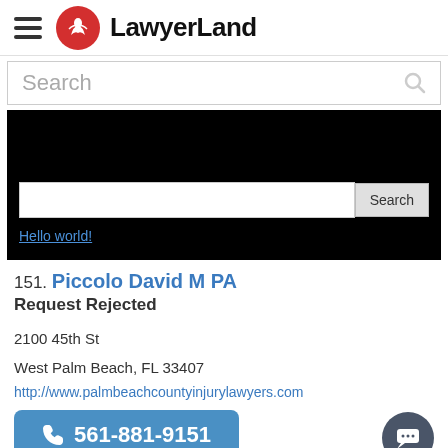LawyerLand
Search
[Figure (screenshot): Black banner widget area with search input box and Search button, and a 'Hello world!' link in blue]
151. Piccolo David M PA
Request Rejected
2100 45th St
West Palm Beach, FL 33407
http://www.palmbeachcountyinjurylawyers.com
561-881-9151